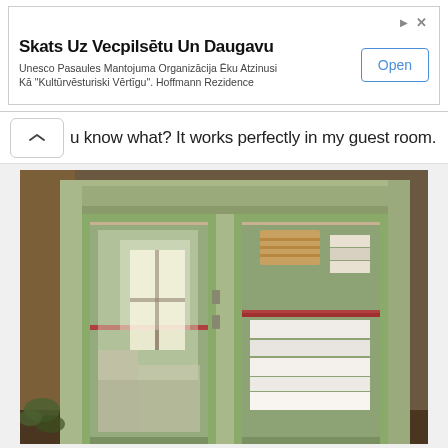[Figure (screenshot): Advertisement banner: 'Skats Uz Vecpilsētu Un Daugavu' with subtitle text about UNESCO and Hoffmann Rezidence, with an 'Open' button.]
u know what? It works perfectly in my guest room.
[Figure (photo): Photo of a vintage green painted wooden cabinet with glass doors, showing shelves stocked with folded linens, towels, and wicker baskets.]